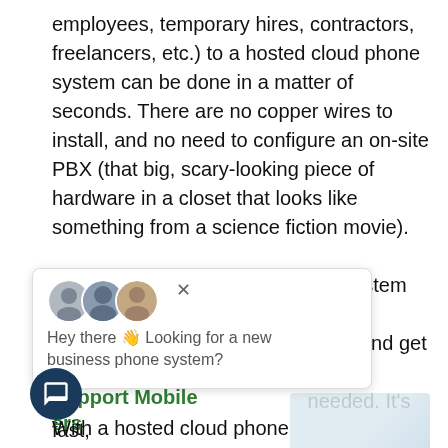employees, temporary hires, contractors, freelancers, etc.) to a hosted cloud phone system can be done in a matter of seconds. There are no copper wires to install, and no need to configure an on-site PBX (that big, scary-looking piece of hardware in a closet that looks like something from a science fiction movie).
Instead, you simply log into your system through a web-based dashboard, add users, and get the needed. It's fast, able compared a
Hey there 👋 Looking for a new business phone system?
4. Hosted Cloud Phone Systems Support Mobile ers
With a hosted cloud phone